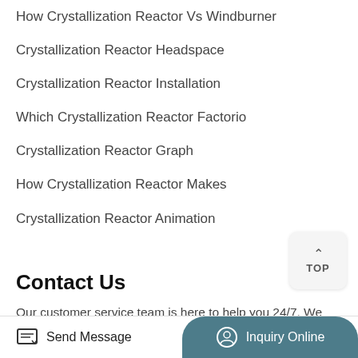How Crystallization Reactor Vs Windburner
Crystallization Reactor Headspace
Crystallization Reactor Installation
Which Crystallization Reactor Factorio
Crystallization Reactor Graph
How Crystallization Reactor Makes
Crystallization Reactor Animation
Contact Us
Our customer service team is here to help you 24/7. We can ship you parts, send field service technicians to your site and answer any questions you have. Whatever you need, we are here for
Send Message   Inquiry Online